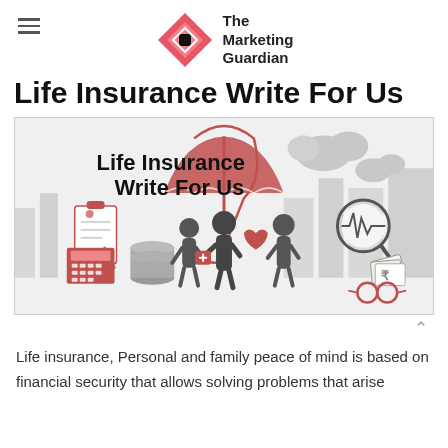The Marketing Guardian
Life Insurance Write For Us
[Figure (illustration): Life Insurance Write For Us illustration showing umbrella, people, coins, clipboard, medical kit, heart, health meter, and rupee notes icons on a light grey background with text 'Life Insurance Write For Us']
Life insurance, Personal and family peace of mind is based on financial security that allows solving problems that arise